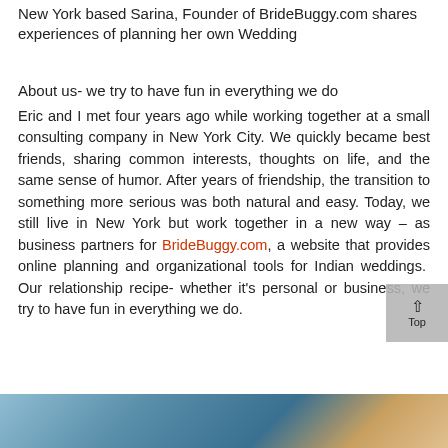New York based Sarina, Founder of BrideBuggy.com shares experiences of planning her own Wedding
About us- we try to have fun in everything we do
Eric and I met four years ago while working together at a small consulting company in New York City. We quickly became best friends, sharing common interests, thoughts on life, and the same sense of humor. After years of friendship, the transition to something more serious was both natural and easy. Today, we still live in New York but work together in a new way – as business partners for BrideBuggy.com, a website that provides online planning and organizational tools for Indian weddings. Our relationship recipe- whether it's personal or business, we try to have fun in everything we do.
[Figure (photo): Partial photo strip visible at the bottom of the page, showing an outdoor scene with blue sky tones]